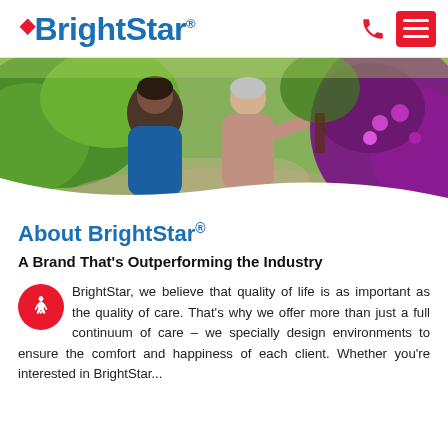[Figure (logo): BrightStar logo with red star accent and blue text]
[Figure (photo): A nurse in blue scrubs walking alongside an elderly woman outdoors near flowering bushes]
About BrightStar®
A Brand That's Outperforming the Industry
BrightStar, we believe that quality of life is as important as the quality of care. That's why we offer more than just a full continuum of care – we specially design environments to ensure the comfort and happiness of each client. Whether you're interested in BrightStar...